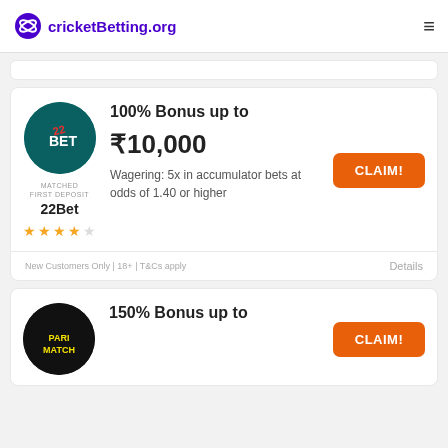cricketBetting.org
[Figure (logo): 22Bet circular logo on teal background]
MATCHED FIRST DEPOSIT
22Bet
100% Bonus up to ₹10,000
Wagering: 5x in accumulator bets at odds of 1.40 or higher
CLAIM!
New Customers Only | 18+ | T&Cs apply
Details
[Figure (logo): Parimatch circular logo on black background]
150% Bonus up to
CLAIM!